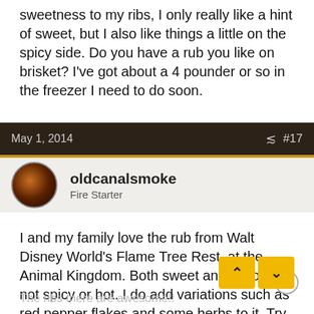sweetness to my ribs, I only really like a hint of sweet, but I also like things a little on the spicy side. Do you have a rub you like on brisket? I've got about a 4 pounder or so in the freezer I need to do soon.
May 1, 2014  #17
oldcanalsmoke
Fire Starter
I and my family love the rub from Walt Disney World's Flame Tree Rest. at the Animal Kingdom. Both sweet and savory, not spicy or hot. I do add variations such as red pepper flakes and some herbs to it. Try it out. I found the recipe here: http://allears.net/din/recipes/rec_bbq.htm
The ribs there are awesome!!